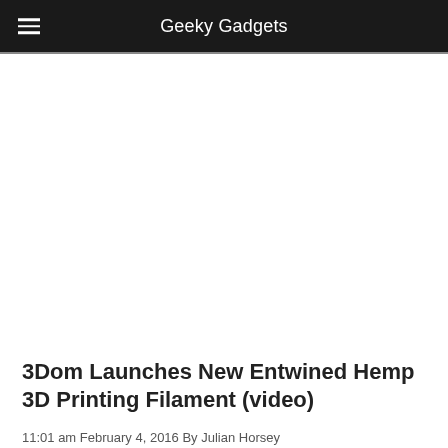Geeky Gadgets
[Figure (other): Large white blank/advertisement area below the navigation header]
3Dom Launches New Entwined Hemp 3D Printing Filament (video)
11:01 am February 4, 2016 By Julian Horsey